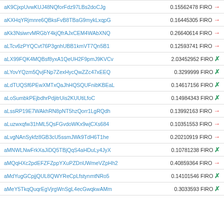| Address | Amount | Status |
| --- | --- | --- |
| aK9CjxpUvwKUJ48NQforFdz97LBs2doCJg | 0.15562478 FIRO | → |
| aKXHqYRjmnre6QBksFvB8TBaG9mykLxqpG | 0.16445305 FIRO | → |
| aKk3NsiwrvMRGbY4kjQfrAJxCEM4WAbXNQ | 0.26640614 FIRO | → |
| aLTcv6zPYQCvt76P3gnhUBB1kmVT7Qn5B1 | 0.12593741 FIRO | → |
| aLX99FQK4MQBsf8yxA1QeUH2F9pmJ9KVCv | 2.03452952 FIRO | ✗ |
| aLYovYQzm5QvjFNp7ZexHycQwZZc47xEEQ | 0.3299999 FIRO | ✗ |
| aLdTUQSf6PEwXMTxQaJhHQSQUFnibKBEaL | 0.14617156 FIRO | ✗ |
| aLoSumbkPEjbdhrPdjitrUis2KUUtiLfoC | 0.14984343 FIRO | ✗ |
| aLssRP19E7WAkhRN8pNT5hzQorr1LgRQdh | 0.13992163 FIRO | → |
| aLuzwxqfw31hML5QsFGvdoWKx9wjCXs684 | 0.10351553 FIRO | → |
| aLvgNAnSykfz8GB3cU5ssmJWk9TdH6T1he | 0.20210919 FIRO | → |
| aMNWLNwFrkXaJiDQ5TBjQqS4aHDuLy4JyX | 0.10781238 FIRO | ✗ |
| aMQqHXc2pdEFZFZppYXuPZDnUWmeVZpHh2 | 0.40859364 FIRO | → |
| aMdYugGCpjjQUL8QWYReCpLfstynmtNRo5 | 0.14101546 FIRO | ✗ |
| aMeY5TkqQuqrEgVjrgWnSgL4ecGwqkwAMm | 0.3033593 FIRO | ✗ |